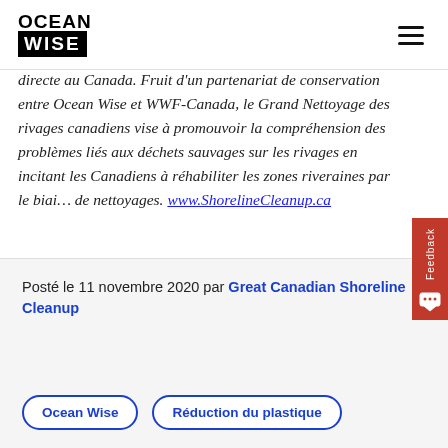OCEAN WISE
directe au Canada. Fruit d'un partenariat de conservation entre Ocean Wise et WWF-Canada, le Grand Nettoyage des rivages canadiens vise à promouvoir la compréhension des problèmes liés aux déchets sauvages sur les rivages en incitant les Canadiens à réhabiliter les zones riveraines par le biai… de nettoyages. www.ShorelineCleanup.ca
Posté le 11 novembre 2020 par Great Canadian Shoreline Cleanup
Ocean Wise
Réduction du plastique